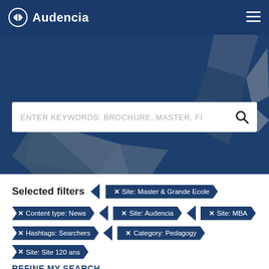Audencia
[Figure (screenshot): Website screenshot showing Audencia school search page with dark blue header, paper airplane geometric hero image, and search bar with placeholder text 'ENTER KEYWORDS: BROCHURE, MASTER, FI...']
ENTER KEYWORDS: BROCHURE, MASTER, FI...
Selected filters
✕ Site: Master & Grande Ecole
✕ Content type: News
✕ Site: Audencia
✕ Site: MBA
✕ Hashtags: Searchers
✕ Category: Pedagogy
✕ Site: Site 120 ans
REFINE MY SEARCH